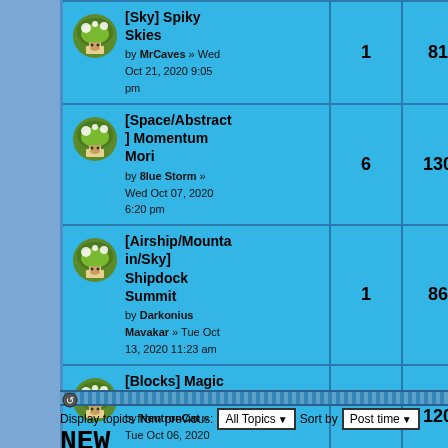| Topic | Replies | Views | Last post |
| --- | --- | --- | --- |
| [Sky] Spiky Skies by MrCaves » Wed Oct 21, 2020 9:05 pm | 1 | 817 | by Enjl Thu Oct 22, ... |
| [Space/Abstract] Momentum Mori by 8lue Storm » Wed Oct 07, 2020 6:20 pm | 6 | 1307 | by Enjl Wed Oct 14, ... |
| [Airship/Mountain/Sky] Shipdock Summit by Darkonius Mavakar » Tue Oct 13, 2020 11:23 am | 1 | 868 | by Darkoniu... Wed Oct 14, ... |
| [Blocks] Magic Rail by NeutronCat » Tue Oct 06, 2020 2:27 pm | 5 | 1201 | by Enjl Fri Oct 09, 20... |
Display topics from previous: All Topics ▾  Sort by  Post time ▾
NEW TOPIC 🍄